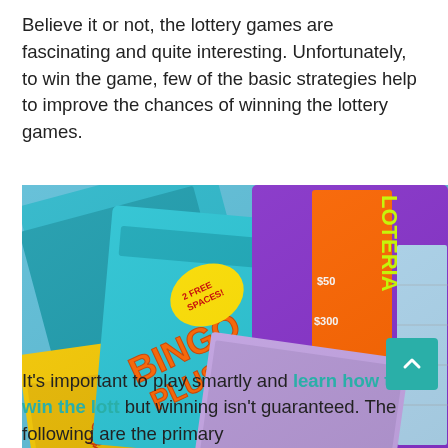Believe it or not, the lottery games are fascinating and quite interesting. Unfortunately, to win the game, few of the basic strategies help to improve the chances of winning the lottery games.
[Figure (photo): A colorful collection of lottery scratch-off tickets including Bingo Plus, Loteria, Ripling Crossword and others spread out overlapping each other.]
It's important to play smartly and learn how to win the lottery but winning isn't guaranteed. The following are the primary